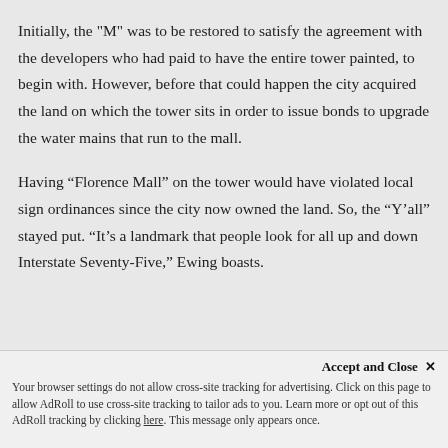Initially, the "M" was to be restored to satisfy the agreement with the developers who had paid to have the entire tower painted, to begin with. However, before that could happen the city acquired the land on which the tower sits in order to issue bonds to upgrade the water mains that run to the mall.
Having “Florence Mall” on the tower would have violated local sign ordinances since the city now owned the land. So, the “Y’all” stayed put. “It’s a landmark that people look for all up and down Interstate Seventy-Five,” Ewing boasts.
Accept and Close × Your browser settings do not allow cross-site tracking for advertising. Click on this page to allow AdRoll to use cross-site tracking to tailor ads to you. Learn more or opt out of this AdRoll tracking by clicking here. This message only appears once.